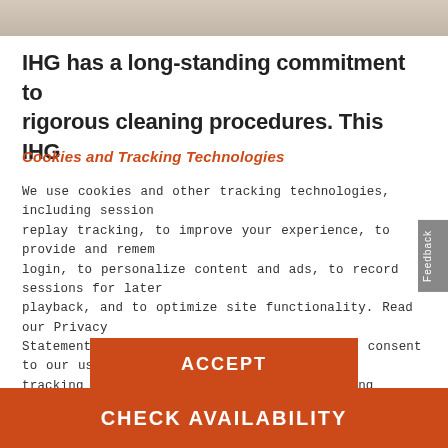[Figure (photo): Partial hotel room photo strip at the top of the page showing pillows and light decor]
IHG has a long-standing commitment to rigorous cleaning procedures. This IHG
Cookies and Tracking Technologies
We use cookies and other tracking technologies, including session replay tracking, to improve your experience, to provide and remember login, to personalize content and ads, to record sessions for later playback, and to optimize site functionality. Read our Privacy Statement to learn more. By continuing, you consent to our use of the tracking technologies and our terms including important waivers. To learn more about the trackers on our site and change your preferences, View Settings.
ACCEPT
CHECK AVAILABILITY